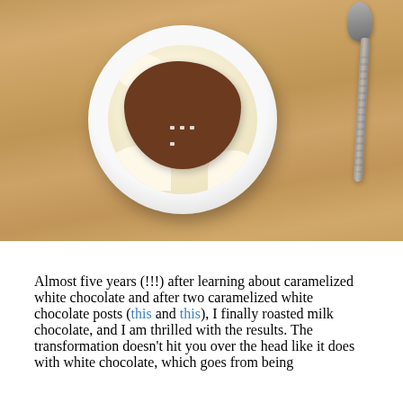[Figure (photo): Overhead photo of a white bowl containing ice cream or whipped cream topped with dark chocolate ganache and a sprinkle of salt flakes, with a metal spoon resting on a wooden table beside the bowl.]
Almost five years (!!!) after learning about caramelized white chocolate and after two caramelized white chocolate posts (this and this), I finally roasted milk chocolate, and I am thrilled with the results. The transformation doesn't hit you over the head like it does with white chocolate, which goes from being